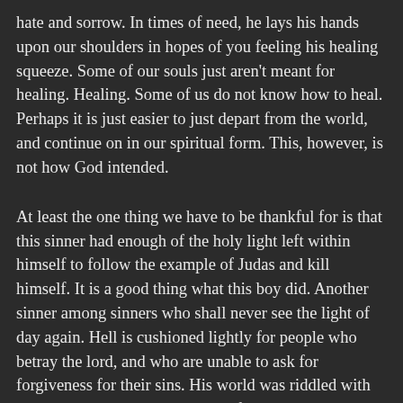hate and sorrow. In times of need, he lays his hands upon our shoulders in hopes of you feeling his healing squeeze. Some of our souls just aren't meant for healing. Healing. Some of us do not know how to heal. Perhaps it is just easier to just depart from the world, and continue on in our spiritual form. This, however, is not how God intended.
At least the one thing we have to be thankful for is that this sinner had enough of the holy light left within himself to follow the example of Judas and kill himself. It is a good thing what this boy did. Another sinner among sinners who shall never see the light of day again. Hell is cushioned lightly for people who betray the lord, and who are unable to ask for forgiveness for their sins. His world was riddled with sin and pain. He lived a tainted life, one in which was corrupt and unable to see purity ever again. Sin. Sin. Pain. Sin. Bottom off brand"